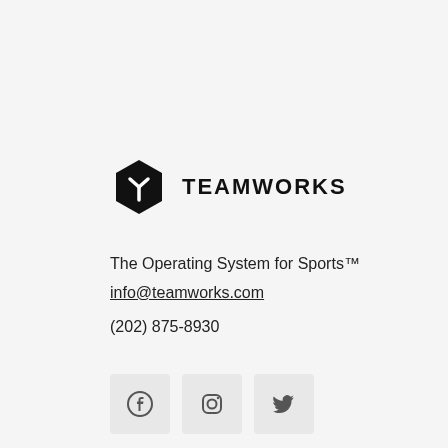[Figure (logo): Teamworks hexagon logo with Y-shaped symbol in white on black background, followed by TEAMWORKS text in bold uppercase]
The Operating System for Sports™
info@teamworks.com
(202) 875-8930
[Figure (illustration): Three social media icon buttons: Facebook, Instagram, Twitter, each in a light gray rounded square]